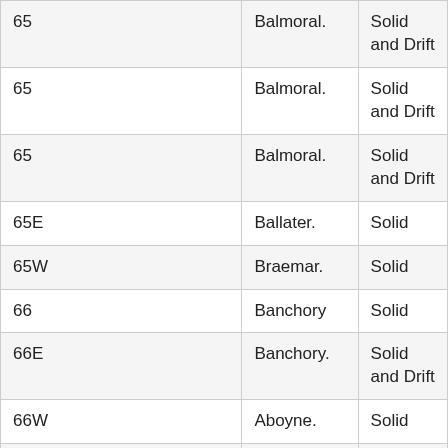| 65 | Balmoral. | Solid and Drift |
| 65 | Balmoral. | Solid and Drift |
| 65 | Balmoral. | Solid and Drift |
| 65E | Ballater. | Solid |
| 65W | Braemar. | Solid |
| 66 | Banchory | Solid |
| 66E | Banchory. | Solid and Drift |
| 66W | Aboyne. | Solid |
| 67 | Stonehaven | Solid |
| 67 | Stonehaven | Solid |
| 67 | Stonehaven. | Solid and Drift |
| 67 | Stonehaven. | Solid and … |